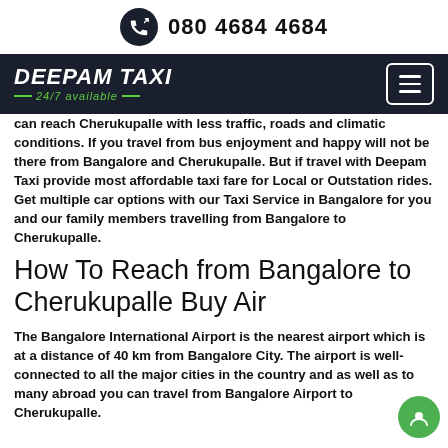080 4684 4684
[Figure (logo): Deepam Taxi logo with 24/7 available tagline on dark navy navigation bar with hamburger menu button]
can reach Cherukupalle with less traffic, roads and climatic conditions. If you travel from bus enjoyment and happy will not be there from Bangalore and Cherukupalle. But if travel with Deepam Taxi provide most affordable taxi fare for Local or Outstation rides. Get multiple car options with our Taxi Service in Bangalore for you and our family members travelling from Bangalore to Cherukupalle.
How To Reach from Bangalore to Cherukupalle Buy Air
The Bangalore International Airport is the nearest airport which is at a distance of 40 km from Bangalore City. The airport is well-connected to all the major cities in the country and as well as to many abroad you can travel from Bangalore Airport to Cherukupalle.